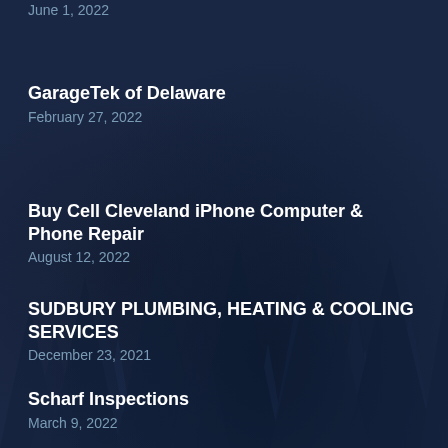June 1, 2022
GarageTek of Delaware
February 27, 2022
Buy Cell Cleveland iPhone Computer & Phone Repair
August 12, 2022
SUDBURY PLUMBING, HEATING & COOLING SERVICES
December 23, 2021
Scharf Inspections
March 9, 2022